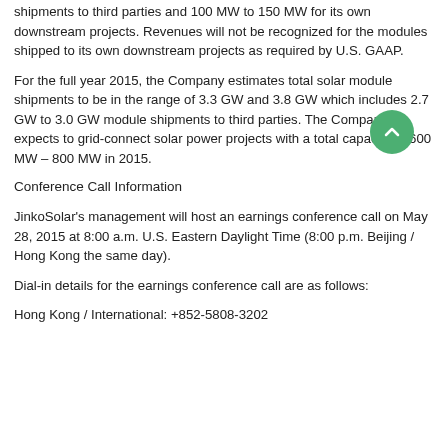shipments to third parties and 100 MW to 150 MW for its own downstream projects. Revenues will not be recognized for the modules shipped to its own downstream projects as required by U.S. GAAP.
For the full year 2015, the Company estimates total solar module shipments to be in the range of 3.3 GW and 3.8 GW which includes 2.7 GW to 3.0 GW module shipments to third parties. The Company expects to grid-connect solar power projects with a total capacity of 600 MW – 800 MW in 2015.
Conference Call Information
JinkoSolar's management will host an earnings conference call on May 28, 2015 at 8:00 a.m. U.S. Eastern Daylight Time (8:00 p.m. Beijing / Hong Kong the same day).
Dial-in details for the earnings conference call are as follows:
Hong Kong / International: +852-5808-3202